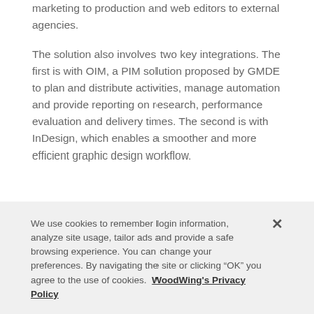marketing to production and web editors to external agencies.

The solution also involves two key integrations. The first is with OIM, a PIM solution proposed by GMDE to plan and distribute activities, manage automation and provide reporting on research, performance evaluation and delivery times. The second is with InDesign, which enables a smoother and more efficient graphic design workflow.
We use cookies to remember login information, analyze site usage, tailor ads and provide a safe browsing experience. You can change your preferences. By navigating the site or clicking “OK” you agree to the use of cookies.  WoodWing's Privacy Policy